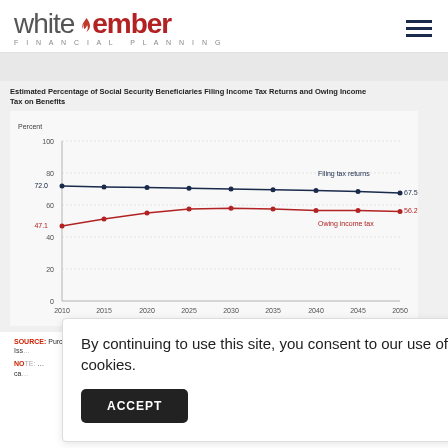[Figure (logo): White Ember Financial Planning logo with flame icon]
[Figure (line-chart): Estimated Percentage of Social Security Beneficiaries Filing Income Tax Returns and Owing Income Tax on Benefits]
SOURCE: Purcell, Patrick J. Income Taxes on Social Security Benefits. Social Security Administration Issue Brief. 2015-02.
NOTE: Estimates assume no changes in current law and are based on the projections of the Social Security Administration's MINT model.
By continuing to use this site, you consent to our use of cookies.